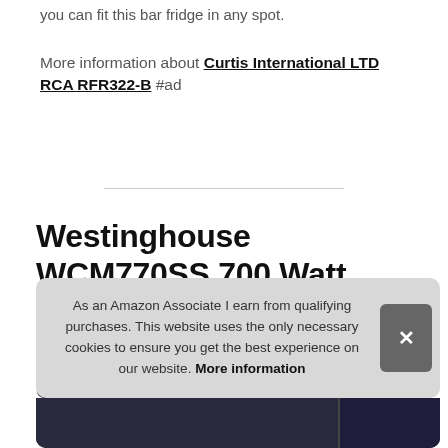you can fit this bar fridge in any spot.
More information about Curtis International LTD RCA RFR322-B #ad
Westinghouse WCM770SS 700 Watt Counter Top Microwave Oven, 0.7Cubic Feet, Stainless Steel Front, Black Cabinet
As an Amazon Associate I earn from qualifying purchases. This website uses the only necessary cookies to ensure you get the best experience on our website. More information
[Figure (photo): Partial product image strip at the bottom of the page showing a microwave oven product photo]